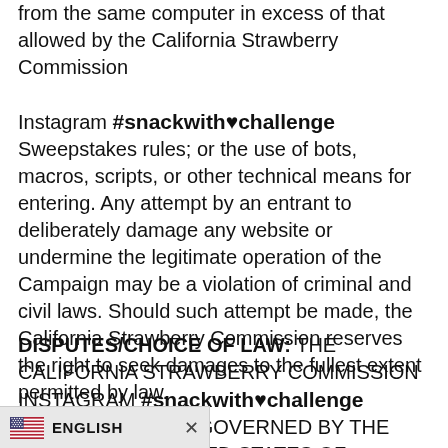from the same computer in excess of that allowed by the California Strawberry Commission
Instagram #snackwith♥challenge Sweepstakes rules; or the use of bots, macros, scripts, or other technical means for entering. Any attempt by an entrant to deliberately damage any website or undermine the legitimate operation of the Campaign may be a violation of criminal and civil laws. Should such attempt be made, the California Strawberry Commission reserves the right to seek damages to the fullest extent permitted by law.
DISPUTES/CHOICE OF LAW: THE CALIFORNIA STRAWBERRY COMMISSION INSTAGRAM #snackwith♥challenge SWEEPSTAKES IS GOVERNED BY THE LAWS OF THE UNITED STATES OF AMERICA AND CALIFORNIA,
ENGLISH